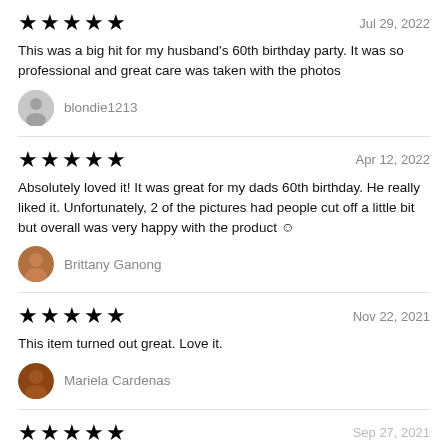★★★★★   Jul 29, 2022
This was a big hit for my husband's 60th birthday party. It was so professional and great care was taken with the photos
blondie1213
★★★★★   Apr 12, 2022
Absolutely loved it! It was great for my dads 60th birthday. He really liked it. Unfortunately, 2 of the pictures had people cut off a little bit but overall was very happy with the product 😊
Brittany Ganong
★★★★★   Nov 22, 2021
This item turned out great. Love it.
Mariela Cardenas
★★★★★   Sep 27, 2021